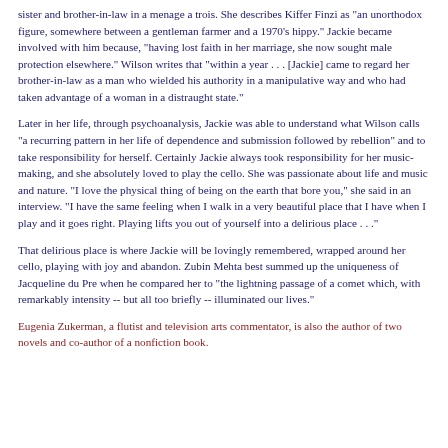sister and brother-in-law in a menage a trois. She describes Kiffer Finzi as "an unorthodox figure, somewhere between a gentleman farmer and a 1970's hippy." Jackie became involved with him because, "having lost faith in her marriage, she now sought male protection elsewhere." Wilson writes that "within a year . . . [Jackie] came to regard her brother-in-law as a man who wielded his authority in a manipulative way and who had taken advantage of a woman in a distraught state."
Later in her life, through psychoanalysis, Jackie was able to understand what Wilson calls "a recurring pattern in her life of dependence and submission followed by rebellion" and to take responsibility for herself. Certainly Jackie always took responsibility for her music-making, and she absolutely loved to play the cello. She was passionate about life and music and nature. "I love the physical thing of being on the earth that bore you," she said in an interview. "I have the same feeling when I walk in a very beautiful place that I have when I play and it goes right. Playing lifts you out of yourself into a delirious place . . ."
That delirious place is where Jackie will be lovingly remembered, wrapped around her cello, playing with joy and abandon. Zubin Mehta best summed up the uniqueness of Jacqueline du Pre when he compared her to "the lightning passage of a comet which, with remarkably intensity -- but all too briefly -- illuminated our lives."
Eugenia Zukerman, a flutist and television arts commentator, is also the author of two novels and co-author of a nonfiction book.